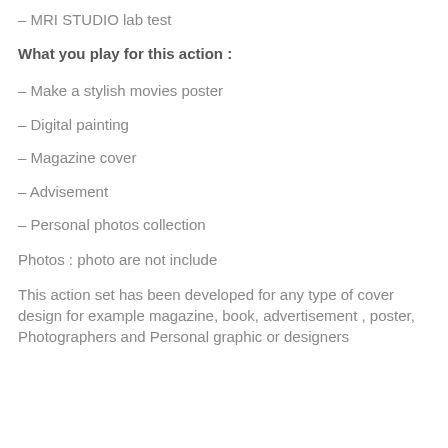– MRI STUDIO lab test
What you play for this action :
– Make a stylish movies poster
– Digital painting
– Magazine cover
– Advisement
– Personal photos collection
Photos : photo are not include
This action set has been developed for any type of cover design for example magazine, book, advertisement , poster, Photographers and Personal graphic or designers